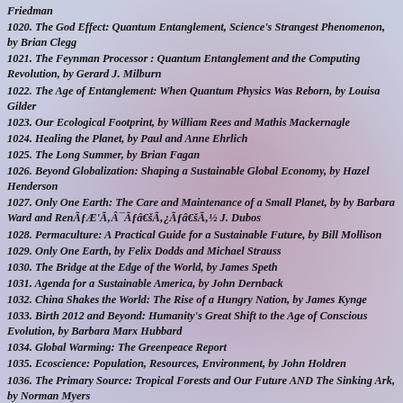Friedman
1020. The God Effect: Quantum Entanglement, Science's Strangest Phenomenon, by Brian Clegg
1021. The Feynman Processor : Quantum Entanglement and the Computing Revolution, by Gerard J. Milburn
1022. The Age of Entanglement: When Quantum Physics Was Reborn, by Louisa Gilder
1023. Our Ecological Footprint, by William Rees and Mathis Mackernagle
1024. Healing the Planet, by Paul and Anne Ehrlich
1025. The Long Summer, by Brian Fagan
1026. Beyond Globalization: Shaping a Sustainable Global Economy, by Hazel Henderson
1027. Only One Earth: The Care and Maintenance of a Small Planet, by by Barbara Ward and RenÃƒÆ'Ã‚Â¯Ãƒâ€šÃ‚¿Ãƒâ€šÃ‚½ J. Dubos
1028. Permaculture: A Practical Guide for a Sustainable Future, by Bill Mollison
1029. Only One Earth, by Felix Dodds and Michael Strauss
1030. The Bridge at the Edge of the World, by James Speth
1031. Agenda for a Sustainable America, by John Dernback
1032. China Shakes the World: The Rise of a Hungry Nation, by James Kynge
1033. Birth 2012 and Beyond: Humanity's Great Shift to the Age of Conscious Evolution, by Barbara Marx Hubbard
1034. Global Warming: The Greenpeace Report
1035. Ecoscience: Population, Resources, Environment, by John Holdren
1036. The Primary Source: Tropical Forests and Our Future AND The Sinking Ark, by Norman Myers
1037. Managing Planet Earth, by Scientific American
1038. Beyond the Petroleum Age: Designing a Solar Economy, by Christopher